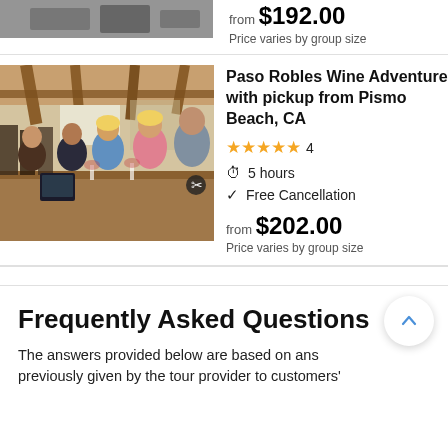[Figure (photo): Partial photo of a gym/winery interior at top of page]
from $192.00
Price varies by group size
[Figure (photo): Group of people at a wine bar tasting, smiling at the camera inside a winery with wooden beam ceiling]
Paso Robles Wine Adventure with pickup from Pismo Beach, CA
★★★★★ 4
5 hours
Free Cancellation
from $202.00
Price varies by group size
Frequently Asked Questions
The answers provided below are based on answers previously given by the tour provider to customers'